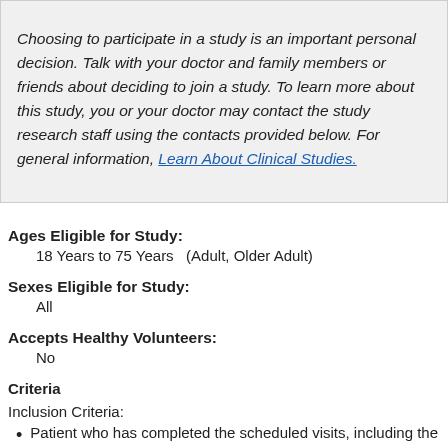Choosing to participate in a study is an important personal decision. Talk with your doctor and family members or friends about deciding to join a study. To learn more about this study, you or your doctor may contact the study research staff using the contacts provided below. For general information, Learn About Clinical Studies.
Ages Eligible for Study:
18 Years to 75 Years   (Adult, Older Adult)
Sexes Eligible for Study:
All
Accepts Healthy Volunteers:
No
Criteria
Inclusion Criteria:
Patient who has completed the scheduled visits, including the